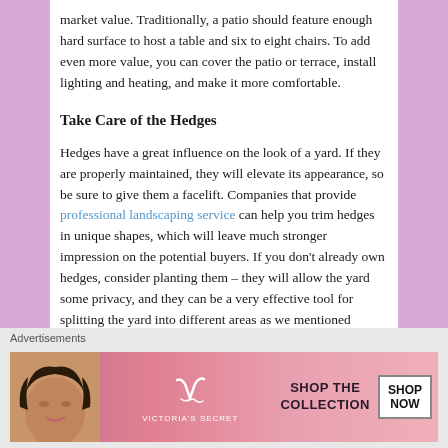market value. Traditionally, a patio should feature enough hard surface to host a table and six to eight chairs. To add even more value, you can cover the patio or terrace, install lighting and heating, and make it more comfortable.
Take Care of the Hedges
Hedges have a great influence on the look of a yard. If they are properly maintained, they will elevate its appearance, so be sure to give them a facelift. Companies that provide professional landscaping service can help you trim hedges in unique shapes, which will leave much stronger impression on the potential buyers. If you don't already own hedges, consider planting them – they will allow the yard some privacy, and they can be a very effective tool for splitting the yard into different areas as we mentioned above.
Advertisements
[Figure (illustration): Victoria's Secret advertisement banner showing a model, VS logo, 'SHOP THE COLLECTION' text, and 'SHOP NOW' button]